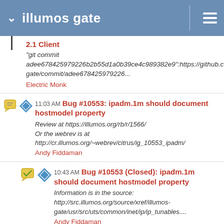illumos gate
2.1 Client
"git commit adee678425979226b2b55d1a0b39ce4c989382e9":https://github.c gate/commit/adee678425979226...
Electric Monk
11:03 AM Bug #10553: ipadm.1m should document hostmodel property
Review at https://illumos.org/rb/r/1566/
Or the webrev is at
http://cr.illumos.org/~webrev/citrus/ig_10553_ipadm/
Andy Fiddaman
10:43 AM Bug #10553 (Closed): ipadm.1m should document hostmodel property
Information is in the source:
http://src.illumos.org/source/xref/illumos-gate/usr/src/uts/common/inet/ip/ip_tunables....
Andy Fiddaman